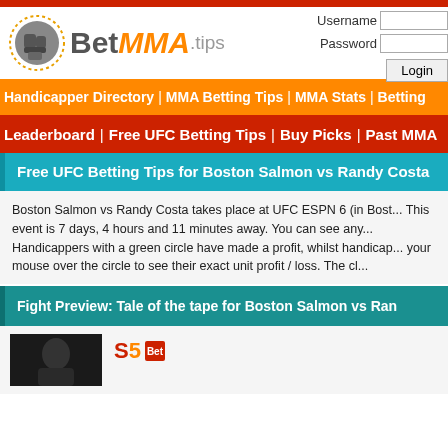[Figure (logo): BetMMA.tips website logo with fist icon]
Handicapper Directory | MMA Betting Tips | MMA Stats | Betting...
Leaderboard | Free UFC Betting Tips | Buy Picks | Past MMA...
Free UFC Betting Tips for Boston Salmon vs Randy Costa...
Boston Salmon vs Randy Costa takes place at UFC ESPN 6 (in Bost... This event is 7 days, 4 hours and 11 minutes away. You can see any... Handicappers with a green circle have made a profit, whilst handicap... your mouse over the circle to see their exact unit profit / loss. The cl...
Fight Preview: Tale of the tape for Boston Salmon vs Ran...
[Figure (photo): Fighter photo thumbnail (dark background)]